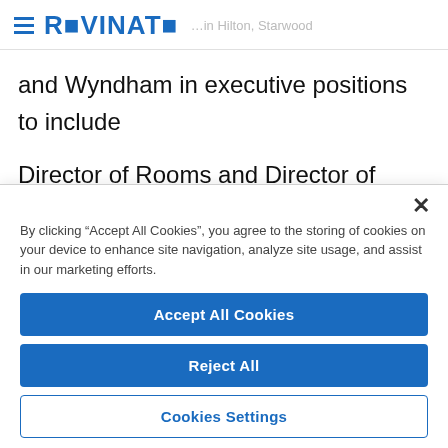REVINATE
and Wyndham in executive positions to include

Director of Rooms and Director of Operations at

The Royal Hawaiian Hotel, a Luxury Collection, an
By clicking “Accept All Cookies”, you agree to the storing of cookies on your device to enhance site navigation, analyze site usage, and assist in our marketing efforts.
Accept All Cookies
Reject All
Cookies Settings